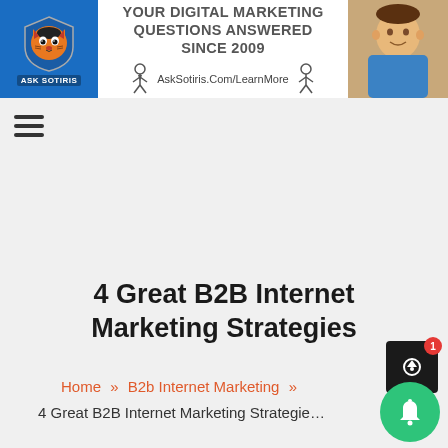[Figure (logo): Ask Sotiris logo with tiger mascot on blue background]
[Figure (infographic): Website banner: YOUR DIGITAL MARKETING QUESTIONS ANSWERED SINCE 2009, AskSotiris.Com/LearnMore, with illustrated figures and photo of man]
[Figure (photo): Photo of smiling man in blue shirt]
4 Great B2B Internet Marketing Strategies
Home >> B2b Internet Marketing >> 4 Great B2B Internet Marketing Strategies